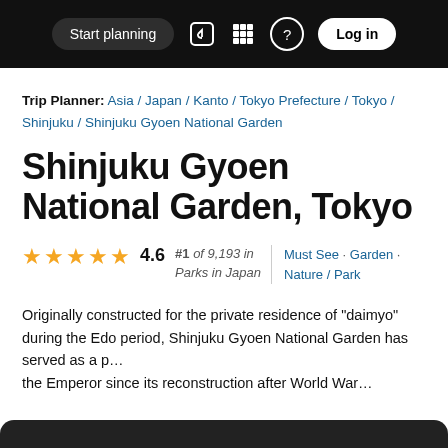Start planning  Log in
Trip Planner: Asia / Japan / Kanto / Tokyo Prefecture / Tokyo / Shinjuku / Shinjuku Gyoen National Garden
Shinjuku Gyoen National Garden, Tokyo
4.6  #1 of 9,193 in Parks in Japan  Must See · Garden · Nature / Park
Originally constructed for the private residence of "daimyo" during the Edo period, Shinjuku Gyoen National Garden has served as a p... the Emperor since its reconstruction after World War...